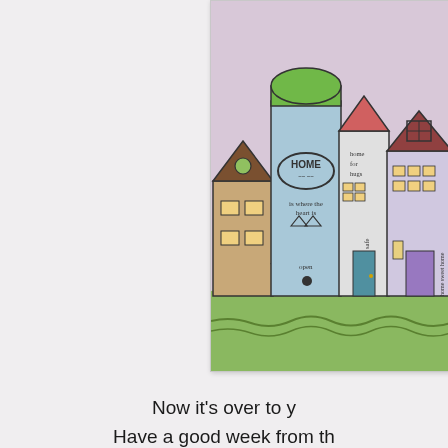[Figure (illustration): Colorful illustrated artwork showing a row of whimsical cartoon houses with text stamps including 'HOME', 'home for hugs', 'welcome', 'is where the heart is', 'open', 'safe', 'home sweet home', framed with white border]
Now it's over to y
Have a good week from th
[Figure (photo): Vintage-style art journal page with old photo of a woman against green floral background with daisy flowers]
[Figure (photo): Scrapbook/journal page with handwritten and typewritten text titled 'Grandpa built his house in 1909, in his own words - how!' with vintage keys and an old photo]
[Figure (photo): Partially visible art journal or book page with green and tan plaid/woven texture]